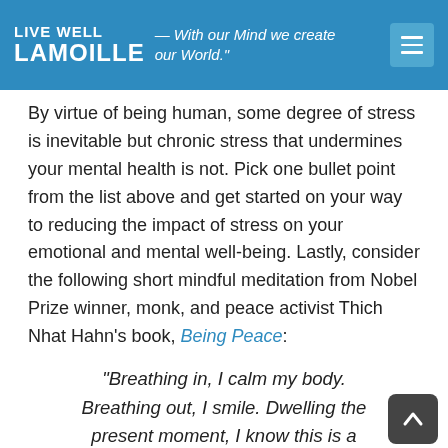LIVE WELL LAMOILLE — With our Mind we create our World.
By virtue of being human, some degree of stress is inevitable but chronic stress that undermines your mental health is not. Pick one bullet point from the list above and get started on your way to reducing the impact of stress on your emotional and mental well-being. Lastly, consider the following short mindful meditation from Nobel Prize winner, monk, and peace activist Thich Nhat Hahn's book, Being Peace:
“Breathing in, I calm my body. Breathing out, I smile. Dwelling the present moment, I know this is a